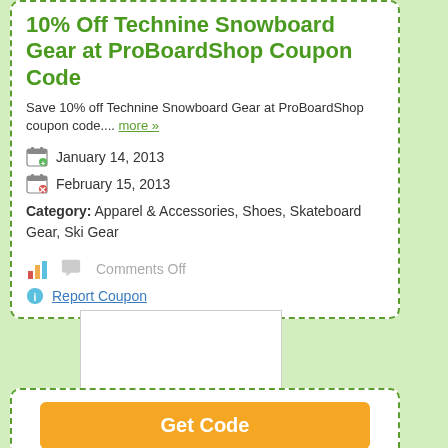10% Off Technine Snowboard Gear at ProBoardShop Coupon Code
Save 10% off Technine Snowboard Gear at ProBoardShop coupon code.... more »
January 14, 2013
February 15, 2013
Category: Apparel & Accessories, Shoes, Skateboard Gear, Ski Gear
Comments Off
Report Coupon
[Figure (logo): ProBoardShop store logo placeholder box]
ProBoardShop
Get Code